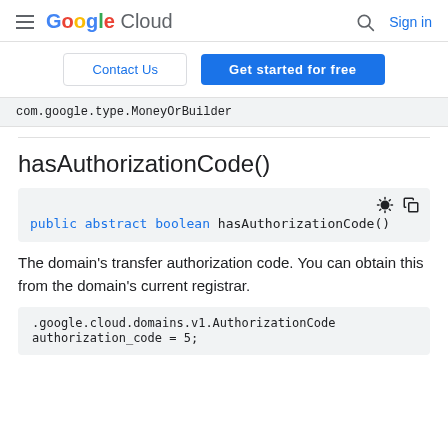Google Cloud — Sign in
Contact Us | Get started for free
com.google.type.MoneyOrBuilder
hasAuthorizationCode()
public abstract boolean hasAuthorizationCode()
The domain's transfer authorization code. You can obtain this from the domain's current registrar.
.google.cloud.domains.v1.AuthorizationCode
authorization_code = 5;